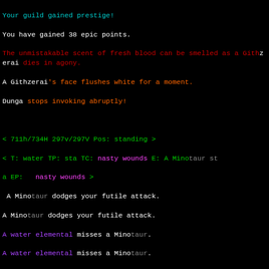Your guild gained prestige!
You have gained 38 epic points.
The unmistakable scent of fresh blood can be smelled as a Githzerai dies in agony.
A Githzerai's face flushes white for a moment.
Dunga stops invoking abruptly!
< 711h/734H 297v/297V Pos: standing >
< T: water TP: sta TC: nasty wounds E: A Minotaur sta EP:  nasty wounds >
A Minotaur dodges your futile attack.
A Minotaur dodges your futile attack.
A water elemental misses a Minotaur.
A water elemental misses a Minotaur.
A water elemental misses a Minotaur.
You're too busy fighting to be pulling things out of bags!
< 711h/734H 297v/297V Pos: standing >
< T: water TP: sta TC: nasty wounds E: A Minotaur sta EP:  nasty wounds >
It appears to be the corpse of Drozk.
a dangling chain crucifix (glowing) [64%]
a swirling wand of light
an exquisite silk sash [something]